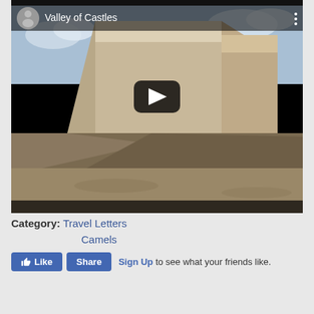[Figure (screenshot): YouTube/Facebook embedded video thumbnail showing Valley of Castles - rocky cliff formations in a desert landscape with a play button overlay. Video title shows 'Valley of Castles' with a profile photo avatar in the top-left corner and three vertical dots menu in top-right.]
Category: Travel Letters
Camels
Sign Up to see what your friends like.